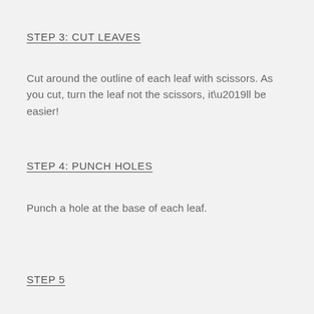STEP 3: CUT LEAVES
Cut around the outline of each leaf with scissors. As you cut, turn the leaf not the scissors, it’ll be easier!
STEP 4: PUNCH HOLES
Punch a hole at the base of each leaf.
STEP 5